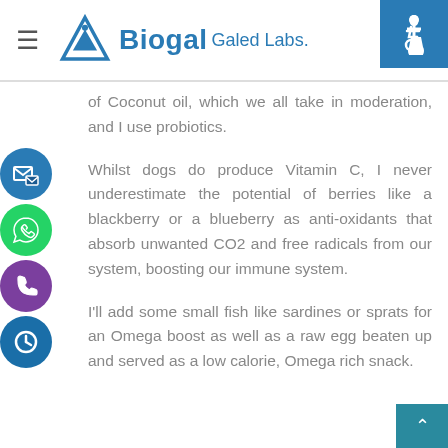Biogal Galed Labs.
of Coconut oil, which we all take in moderation, and I use probiotics.
Whilst dogs do produce Vitamin C, I never underestimate the potential of berries like a blackberry or a blueberry as anti-oxidants that absorb unwanted CO2 and free radicals from our system, boosting our immune system.
I'll add some small fish like sardines or sprats for an Omega boost as well as a raw egg beaten up and served as a low calorie, Omega rich snack.